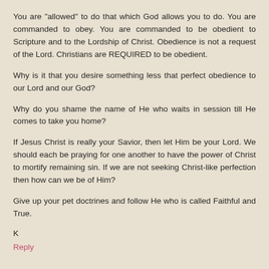You are "allowed" to do that which God allows you to do. You are commanded to obey. You are commanded to be obedient to Scripture and to the Lordship of Christ. Obedience is not a request of the Lord. Christians are REQUIRED to be obedient.
Why is it that you desire something less that perfect obedience to our Lord and our God?
Why do you shame the name of He who waits in session till He comes to take you home?
If Jesus Christ is really your Savior, then let Him be your Lord. We should each be praying for one another to have the power of Christ to mortify remaining sin. If we are not seeking Christ-like perfection then how can we be of Him?
Give up your pet doctrines and follow He who is called Faithful and True.
K
Reply